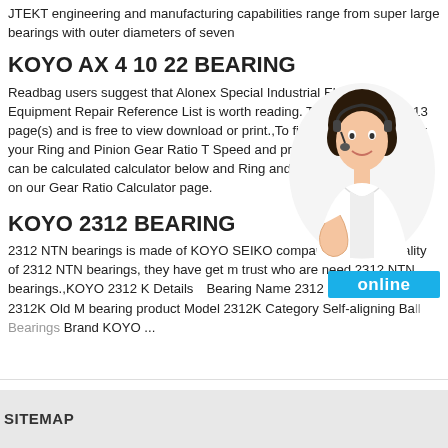JTEKT engineering and manufacturing capabilities range from super large bearings with outer diameters of seven
KOYO AX 4 10 22 BEARING
Readbag users suggest that Alonex Special Industrial Electronic Equipment Repair Reference List is worth reading. The file contains 313 page(s) and is free to view download or print.,To find vehicle's RPM enter your Ring and Pinion Gear Ratio T Speed and press 'Solve'. Tire Height can be calculated calculator below and Ring and Pinion Gear Ratio can b on our Gear Ratio Calculator page.
[Figure (photo): Woman wearing headset, customer service representative, smiling, in white jacket, with online button overlay]
KOYO 2312 BEARING
2312 NTN bearings is made of KOYO SEIKO company the good quality of 2312 NTN bearings, they have get m trust who are need 2312 NTN bearings.,KOYO 2312 K Details　Bearing Name 2312 K New Model 2312K Old M bearing product Model 2312K Category Self-aligning Ball Bearings Brand KOYO ...
SITEMAP